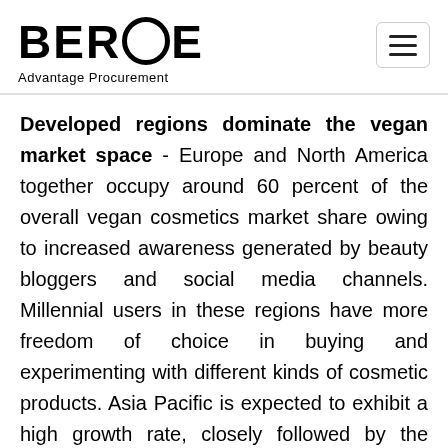BEROE Advantage Procurement
Developed regions dominate the vegan market space - Europe and North America together occupy around 60 percent of the overall vegan cosmetics market share owing to increased awareness generated by beauty bloggers and social media channels. Millennial users in these regions have more freedom of choice in buying and experimenting with different kinds of cosmetic products. Asia Pacific is expected to exhibit a high growth rate, closely followed by the Middle East where consumers are increasingly being inspired